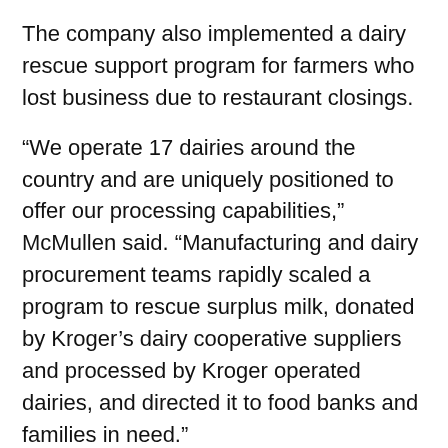The company also implemented a dairy rescue support program for farmers who lost business due to restaurant closings.
“We operate 17 dairies around the country and are uniquely positioned to offer our processing capabilities,” McMullen said. “Manufacturing and dairy procurement teams rapidly scaled a program to rescue surplus milk, donated by Kroger’s dairy cooperative suppliers and processed by Kroger operated dairies, and directed it to food banks and families in need.”
The company is leveraging its internal shopper data capabilities to understand how purchasing patterns will evolve in the months ahead. A key insight is consumers likely will continue to eat at home more often, even as restrictions are lifted nationwide.
“Our customers still tell us they plan to eat more meals at home than before,” said Gary Millerchip, chief financial officer